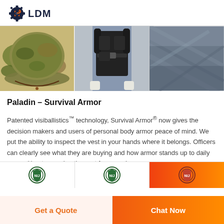[Figure (logo): LDM company logo with gear/wrench icon in dark navy and orange]
[Figure (photo): Three product images: camouflage boonie hat with chin strap, black tactical chest rig/holster on mannequin, dark blue fabric material]
Paladin – Survival Armor
Patented visiballistics™ technology, Survival Armor® now gives the decision makers and users of personal body armor peace of mind. We put the ability to inspect the vest in your hands where it belongs. Officers can clearly see what they are buying and how armor stands up to daily wear without removing the vest from service.
[Figure (infographic): Three badge/certification icons row at bottom, third covered by orange gradient overlay]
Get a Quote
Chat Now